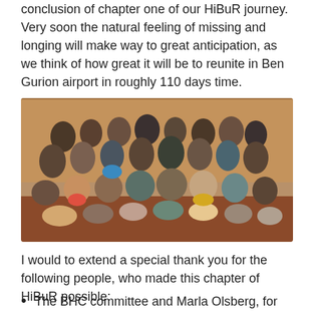conclusion of chapter one of our HiBuR journey. Very soon the natural feeling of missing and longing will make way to great anticipation, as we think of how great it will be to reunite in Ben Gurion airport in roughly 110 days time.
[Figure (photo): Group photo of approximately 40 people of various ages seated and standing in rows inside a room with wooden paneling. People are smiling and posing together.]
I would to extend a special thank you for the following people, who made this chapter of HiBuR possible:
The BHC committee and Marla Olsberg, for their